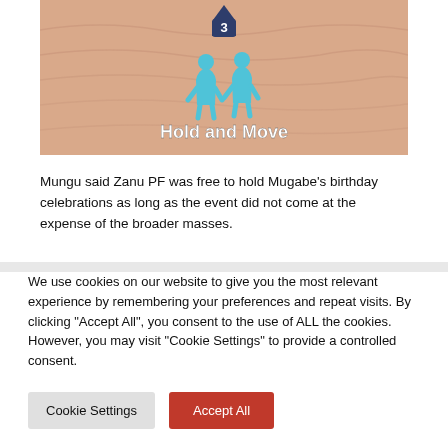[Figure (screenshot): A mobile game screenshot showing two blue cartoon figures on a sandy/desert background with a dark blue badge showing number '3' and white bold text 'Hold and Move' in the lower portion.]
Mungu said Zanu PF was free to hold Mugabe's birthday celebrations as long as the event did not come at the expense of the broader masses.
We use cookies on our website to give you the most relevant experience by remembering your preferences and repeat visits. By clicking "Accept All", you consent to the use of ALL the cookies. However, you may visit "Cookie Settings" to provide a controlled consent.